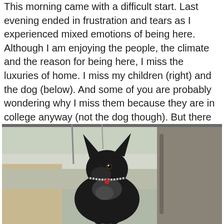This morning came with a difficult start. Last evening ended in frustration and tears as I experienced mixed emotions of being here. Although I am enjoying the people, the climate and the reason for being here, I miss the luxuries of home. I miss my children (right) and the dog (below). And some of you are probably wondering why I miss them because they are in college anyway (not the dog though). But there is a difference in having your children away to college vs. being in another country. And as for
[Figure (photo): A black dog sitting in the back seat of a car, looking out the window. The dog has pointed ears and is wearing a chain collar with a red tag. The background shows a parking lot through the car window.]